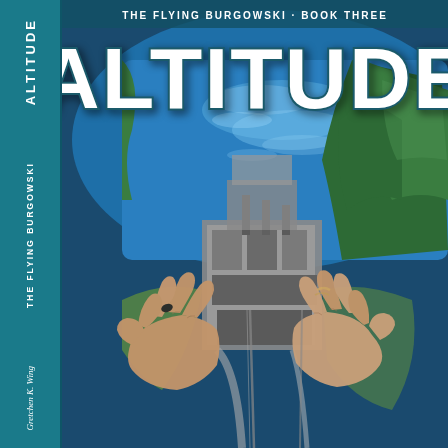[Figure (illustration): Book cover for 'Altitude' — The Flying Burgowski, Book Three by Gretchen K. Wing. Front cover shows an aerial photograph looking down from a great height: two hands gripping what appears to be a wire or rope, with an industrial waterfront facility and a large blue body of water with forested hills visible below. The title 'ALTITUDE' is displayed in large white bold letters across the top. A spine on the left side reads 'ALTITUDE / THE FLYING BURGOWSKI / Gretchen K. Wing' in white text on a teal background.]